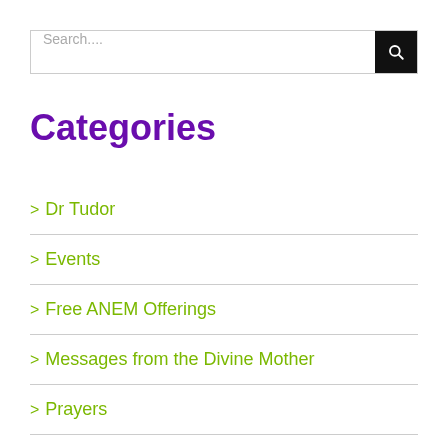Search...
Categories
Dr Tudor
Events
Free ANEM Offerings
Messages from the Divine Mother
Prayers
Retreats and Journeys